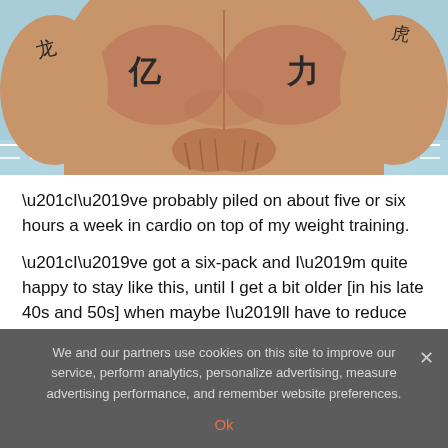[Figure (photo): Close-up photo of a muscular man's torso with tattoos near a swimming pool]
“I’ve probably piled on about five or six hours a week in cardio on top of my weight training.
“I’ve got a six-pack and I’m quite happy to stay like this, until I get a bit older [in his late 40s and 50s] when maybe I’ll have to reduce the weight a little bit more.”
The clash with Hafthor, who played Ser Gregor ‘The
We and our partners use cookies on this site to improve our service, perform analytics, personalize advertising, measure advertising performance, and remember website preferences.